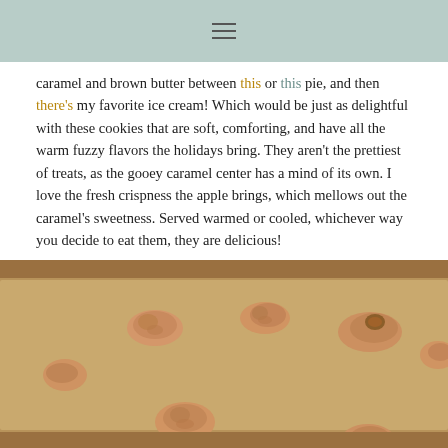≡
caramel and brown butter between this or this pie, and then there's my favorite ice cream! Which would be just as delightful with these cookies that are soft, comforting, and have all the warm fuzzy flavors the holidays bring. They aren't the prettiest of treats, as the gooey caramel center has a mind of its own. I love the fresh crispness the apple brings, which mellows out the caramel's sweetness. Served warmed or cooled, whichever way you decide to eat them, they are delicious!
[Figure (photo): Cookies with caramel centers spread out on a parchment-lined baking sheet]